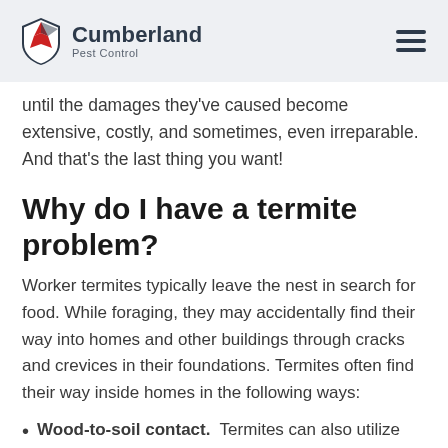Cumberland Pest Control
until the damages they've caused become extensive, costly, and sometimes, even irreparable. And that's the last thing you want!
Why do I have a termite problem?
Worker termites typically leave the nest in search for food. While foraging, they may accidentally find their way into homes and other buildings through cracks and crevices in their foundations. Termites often find their way inside homes in the following ways:
Wood-to-soil contact.  Termites can also utilize soil that comes into contact with door frames, deck posts, wooden shingles, and porch steps to